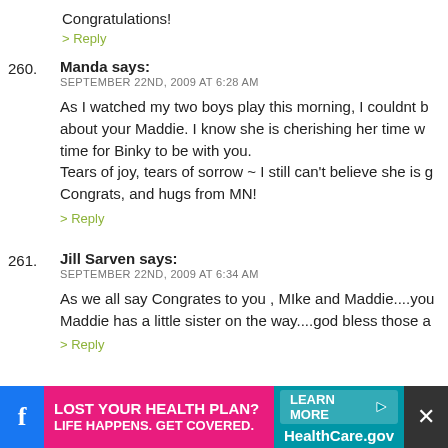Congratulations!
> Reply
260. Manda says: SEPTEMBER 22ND, 2009 AT 6:28 AM
As I watched my two boys play this morning, I couldnt b about your Maddie. I know she is cherishing her time w time for Binky to be with you.
Tears of joy, tears of sorrow ~ I still can't believe she is g
Congrats, and hugs from MN!
> Reply
261. Jill Sarven says: SEPTEMBER 22ND, 2009 AT 6:34 AM
As we all say Congrates to you , MIke and Maddie....you Maddie has a little sister on the way....god bless those a
> Reply
[Figure (infographic): Ad banner at bottom: pink section says LOST YOUR HEALTH PLAN? LIFE HAPPENS. GET COVERED. Teal section says LEARN MORE HealthCare.gov]